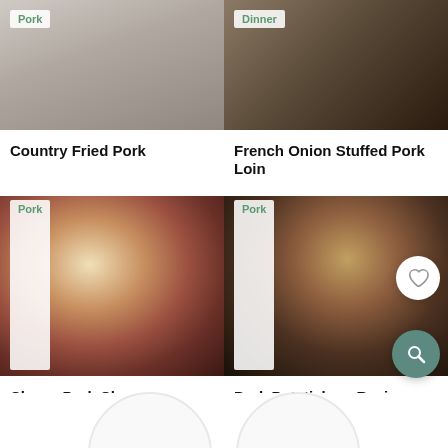[Figure (photo): Country Fried Pork recipe photo]
Pork
Country Fried Pork
[Figure (photo): French Onion Stuffed Pork Loin recipe photo]
Dinner
French Onion Stuffed Pork Loin
[Figure (photo): Cherry Pork Chops recipe photo showing pork chop with cherry sauce on cream sauce]
Pork
Cherry Pork Chops
[Figure (photo): Pork Potstickers recipe photo showing dumpling held by chopsticks over dipping sauce]
Pork
Pork Potstickers Recipe